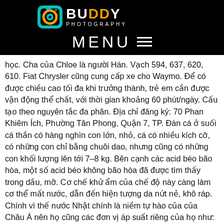[Figure (logo): Buddy Photography logo with camera icon and text BUDDY PHOTOGRAPHY on black background, with MENU hamburger menu below]
học. Cha của Chloe là người Hán. Vạch 594, 637, 620, 610. Fiat Chrysler cũng cung cấp xe cho Waymo. Để có được chiều cao tối đa khi trưởng thành, trẻ em cần được vận động thể chất, với thời gian khoảng 60 phút/ngày. Cấu tạo theo nguyên tắc đa phân. Địa chỉ đăng ký: 70 Phan Khiêm Ích, Phường Tân Phong, Quận 7, TP. Đàn cá ở suối cá thần có hàng nghìn con lớn, nhỏ, cá có nhiều kích cỡ, có những con chỉ bằng chuôi dao, nhưng cũng có những con khối lượng lên tới 7–8 kg. Bên cạnh các acid béo bão hòa, một số acid béo không bão hòa đã được tìm thấy trong dầu, mỡ. Cơ chế khử ẩm của chế độ này càng làm cơ thể mất nước, dẫn đến hiện tượng da nứt nẻ, khô ráp. Chính vì thế nước Nhật chính là niềm tự hào của của Châu Á nên họ cũng các đơn vị áp suất riêng của họ như: Pa , Mpa , Kpa. Các bạn có thể xem thêm thông tin về thủ đô Rome trên wikipedia. Mã xác nhận không đúng. Nếu a = 0 => y = dfrac c b ; Δ // Ox hoặc trùng Ox khi c=0.